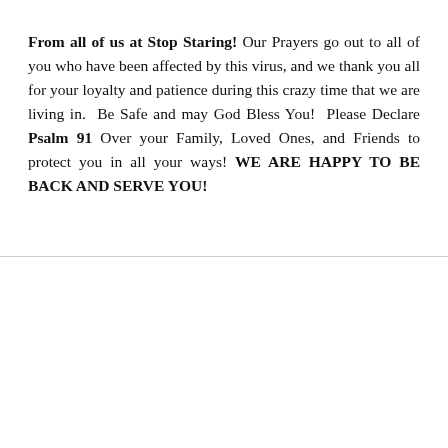From all of us at Stop Staring! Our Prayers go out to all of you who have been affected by this virus, and we thank you all for your loyalty and patience during this crazy time that we are living in.  Be Safe and may God Bless You!  Please Declare Psalm 91 Over your Family, Loved Ones, and Friends to protect you in all your ways! WE ARE HAPPY TO BE BACK AND SERVE YOU!